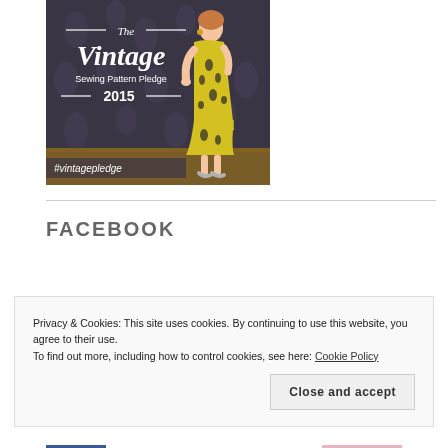[Figure (illustration): The Vintage Sewing Pattern Pledge 2015 promotional image with a woman in a yellow floral dress on a dark damask background, with text '#vintagepledge' at bottom]
FACEBOOK
Privacy & Cookies: This site uses cookies. By continuing to use this website, you agree to their use.
To find out more, including how to control cookies, see here: Cookie Policy
Close and accept